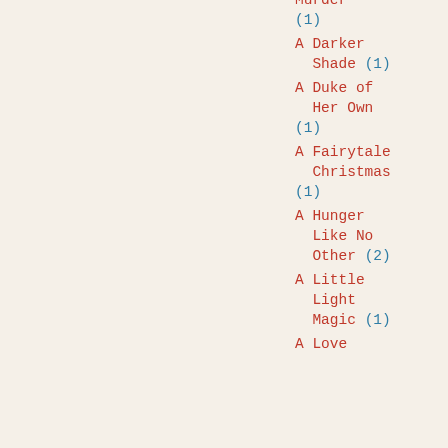For Murder (1)
A Darker Shade (1)
A Duke of Her Own (1)
A Fairytale Christmas (1)
A Hunger Like No Other (2)
A Little Light Magic (1)
A Love